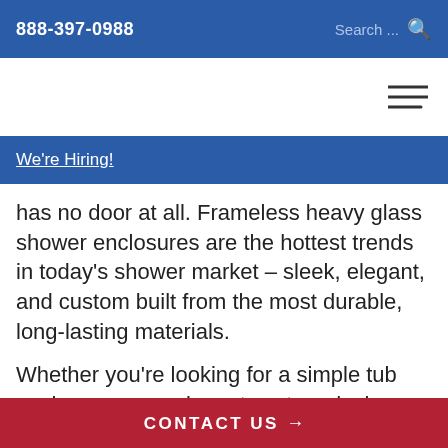888-397-0988  Search...
We're Hiring!
has no door at all. Frameless heavy glass shower enclosures are the hottest trends in today's shower market – sleek, elegant, and custom built from the most durable, long-lasting materials.
Whether you're looking for a simple tub enclosure or an elegant custom design,
CONTACT US →